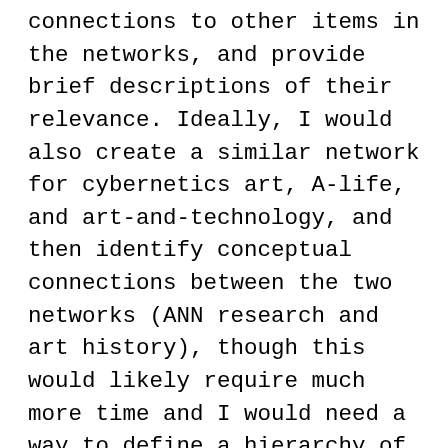connections to other items in the networks, and provide brief descriptions of their relevance. Ideally, I would also create a similar network for cybernetics art, A-life, and art-and-technology, and then identify conceptual connections between the two networks (ANN research and art history), though this would likely require much more time and I would need a way to define a hierarchy of possible connections (i.e., am I connecting two items because they are related by date proximity, by